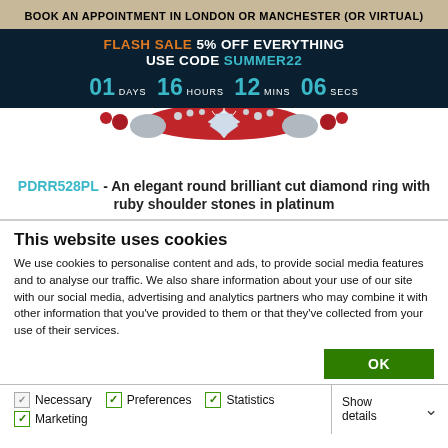BOOK AN APPOINTMENT IN LONDON OR MANCHESTER (OR VIRTUAL)
FLASH SALE 5% OFF EVERYTHING USE CODE SUMMER22 01 DAYS 16 HOURS 12 MINS 06 SECS
[Figure (photo): Partial view of a diamond ring with ruby shoulder stones in platinum, showing the top portion of the ring against a white background]
PDRR528PL - An elegant round brilliant cut diamond ring with ruby shoulder stones in platinum
This website uses cookies
We use cookies to personalise content and ads, to provide social media features and to analyse our traffic. We also share information about your use of our site with our social media, advertising and analytics partners who may combine it with other information that you've provided to them or that they've collected from your use of their services.
OK
Necessary  Preferences  Statistics  Marketing  Show details